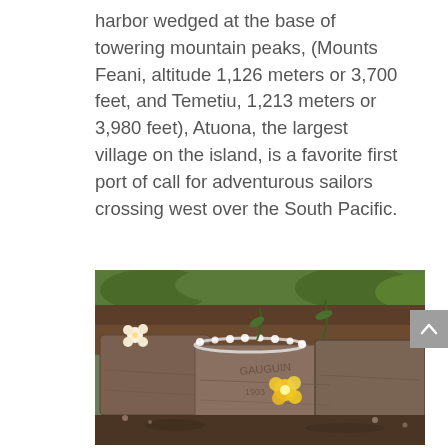harbor wedged at the base of towering mountain peaks, (Mounts Feani, altitude 1,126 meters or 3,700 feet, and Temetiu, 1,213 meters or 3,980 feet), Atuona, the largest village on the island, is a favorite first port of call for adventurous sailors crossing west over the South Pacific.
[Figure (photo): Photograph of ancient stone ruins or megalithic rocks with inscriptions/carvings, decorated with a white flower lei and a yellow plumeria flower. Green vegetation and soil visible in the background.]